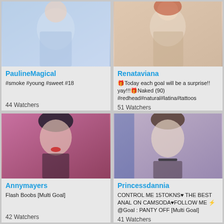[Figure (photo): Webcam thumbnail of PaulineMagical, woman in light blue top]
PaulineMagical
#smoke #young #sweet #18
44 Watchers
[Figure (photo): Webcam thumbnail of Renataviana, redhead woman in white top]
Renataviana
🎁Today each goal will be a surprise!! yay!!!🎁Naked (90) #redhead#natural#latina#tattoos
51 Watchers
[Figure (photo): Webcam thumbnail of Annymayers, dark-haired woman with red lipstick]
Annymayers
Flash Boobs [Multi Goal]
42 Watchers
[Figure (photo): Webcam thumbnail of Princessdannia, brunette woman with choker]
Princessdannia
CONTROL ME 15TOKNS♥ THE BEST ANAL ON CAMSODA♥FOLLOW ME ⚡ @Goal : PANTY OFF [Multi Goal]
41 Watchers